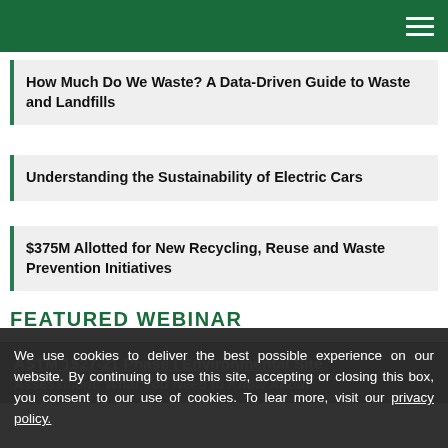How Much Do We Waste? A Data-Driven Guide to Waste and Landfills
Understanding the Sustainability of Electric Cars
$375M Allotted for New Recycling, Reuse and Waste Prevention Initiatives
FEATURED WEBINAR
ASTM 1527-21 Phase I Environmental Site Assessment: What You Need to Know About
We use cookies to deliver the best possible experience on our website. By continuing to use this site, accepting or closing this box, you consent to our use of cookies. To learn more, visit our privacy policy.